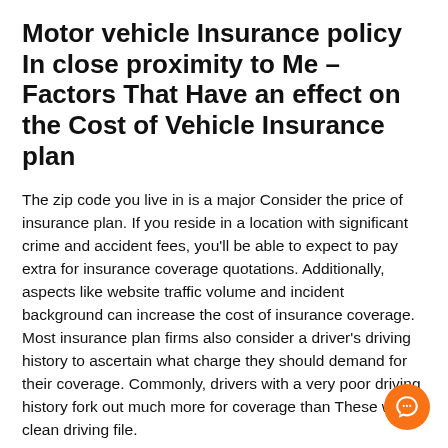Motor vehicle Insurance policy In close proximity to Me – Factors That Have an effect on the Cost of Vehicle Insurance plan
The zip code you live in is a major Consider the price of insurance plan. If you reside in a location with significant crime and accident fees, you'll be able to expect to pay extra for insurance coverage quotations. Additionally, aspects like website traffic volume and incident background can increase the cost of insurance coverage. Most insurance plan firms also consider a driver's driving history to ascertain what charge they should demand for their coverage. Commonly, drivers with a very poor driving history fork out much more for coverage than These with a clean driving file.
Expense of car or truck insurance plan
Vehicle coverage has risen by $fifty – $100 in the final five